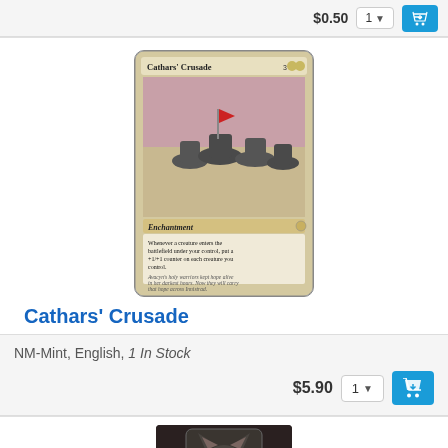$0.50
[Figure (illustration): Magic: The Gathering card - Cathars' Crusade. Enchantment card showing cavalry warriors charging with a flag raised. Card text describes +1/+1 counter mechanic.]
Cathars' Crusade
NM-Mint, English, 1 In Stock
$5.90
[Figure (illustration): Partially visible Magic: The Gathering card at bottom of page showing a creature with green eyes in dark setting.]